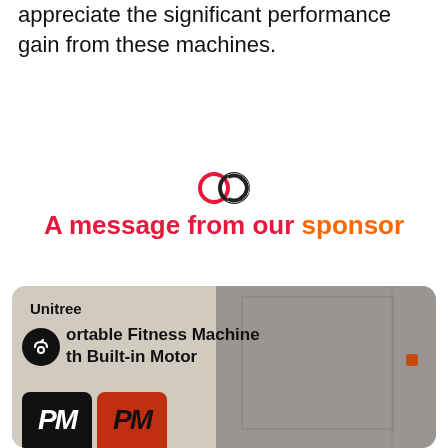appreciate the significant performance gain from these machines.
[Figure (logo): Linked rings / chain link icon in pink/red and dark colors, sponsor separator icon]
A message from our sponsor
[Figure (photo): Unitree advertisement card showing a man using a portable fitness machine with built-in motor, with PM branded equipment bags at the bottom]